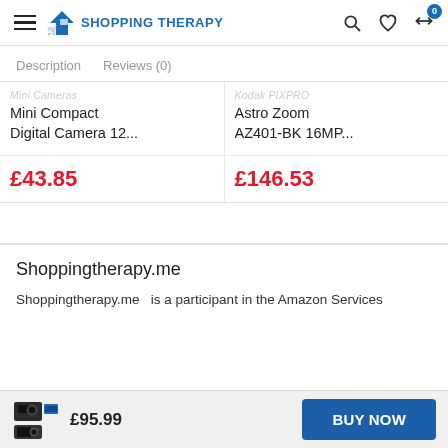SHOPPING THERAPY
Description   Reviews (0)
Mini Compact Digital Camera 12...   £43.85
Kodak PIXPRO Astro Zoom AZ401-BK 16MP...   £146.53
Shoppingtherapy.me
Shoppingtherapy.me  is a participant in the Amazon Services
£95.99
BUY NOW